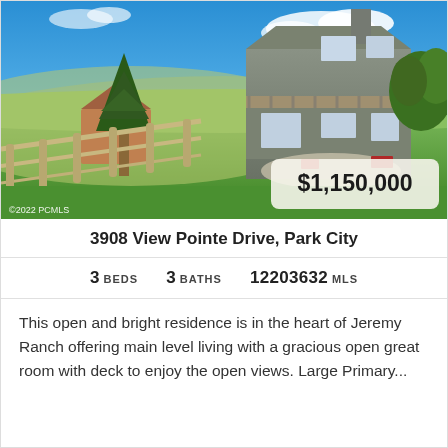[Figure (photo): Exterior photo of a multi-story mountain home with dark gray siding, deck, and chimney, surrounded by green lawn, split-rail fence, and trees under a blue sky. Price badge shows $1,150,000. Watermark: ©2022 PCMLS]
3908 View Pointe Drive, Park City
3 BEDS   3 BATHS   12203632 MLS
This open and bright residence is in the heart of Jeremy Ranch offering main level living with a gracious open great room with deck to enjoy the open views. Large Primary...